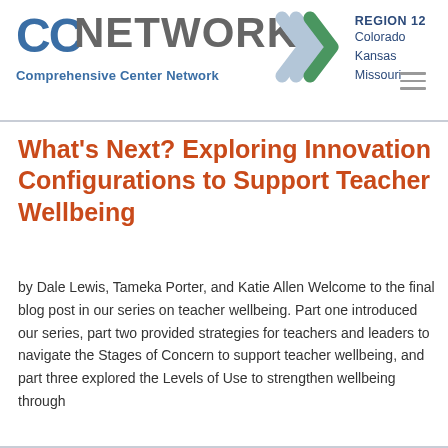CC NETWORK Comprehensive Center Network — REGION 12 Colorado Kansas Missouri
What's Next? Exploring Innovation Configurations to Support Teacher Wellbeing
by Dale Lewis, Tameka Porter, and Katie Allen Welcome to the final blog post in our series on teacher wellbeing. Part one introduced our series, part two provided strategies for teachers and leaders to navigate the Stages of Concern to support teacher wellbeing, and part three explored the Levels of Use to strengthen wellbeing through